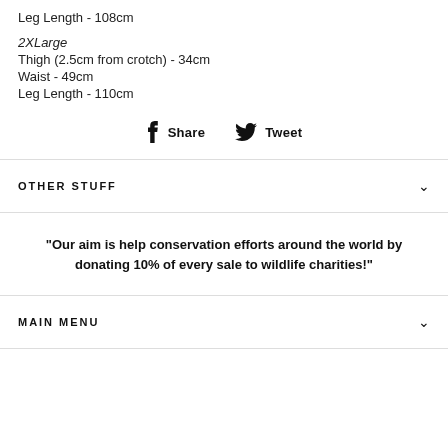Leg Length - 108cm
2XLarge
Thigh (2.5cm from crotch) - 34cm
Waist - 49cm
Leg Length - 110cm
Share   Tweet
OTHER STUFF
"Our aim is help conservation efforts around the world by donating 10% of every sale to wildlife charities!"
MAIN MENU